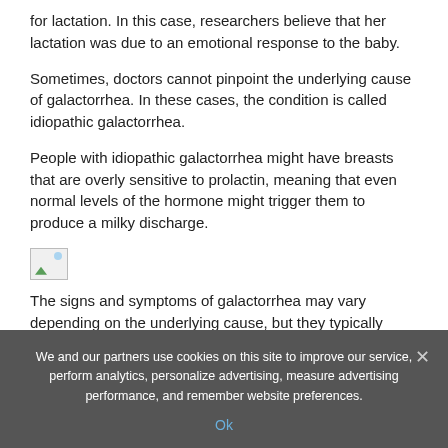for lactation. In this case, researchers believe that her lactation was due to an emotional response to the baby.
Sometimes, doctors cannot pinpoint the underlying cause of galactorrhea. In these cases, the condition is called idiopathic galactorrhea.
People with idiopathic galactorrhea might have breasts that are overly sensitive to prolactin, meaning that even normal levels of the hormone might trigger them to produce a milky discharge.
[Figure (photo): Small broken/placeholder image icon]
The signs and symptoms of galactorrhea may vary depending on the underlying cause, but they typically
We and our partners use cookies on this site to improve our service, perform analytics, personalize advertising, measure advertising performance, and remember website preferences.
Ok